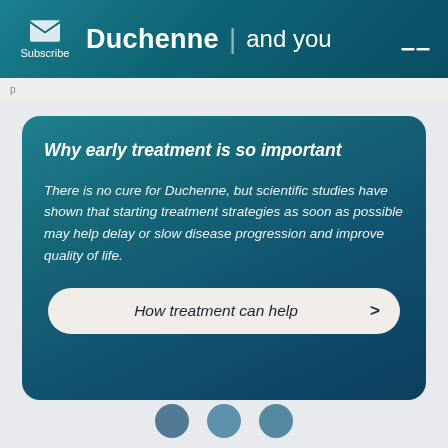Subscribe | Duchenne | and you
Why early treatment is so important
There is no cure for Duchenne, but scientific studies have shown that starting treatment strategies as soon as possible may help delay or slow disease progression and improve quality of life.
How treatment can help >